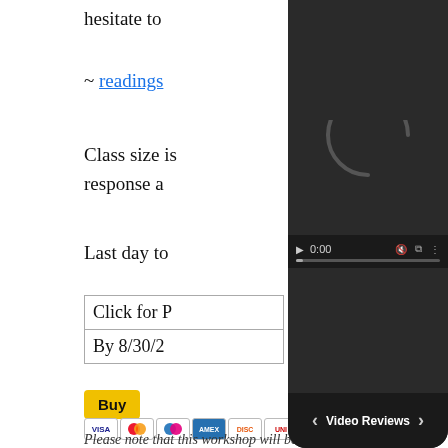hesitate to
~ readings
Class size is
response a
Last day to
| Click for P |
| By 8/30/2 |
[Figure (screenshot): Video player overlay with dark background, loading spinner arc, playback controls showing 0:00, progress bar, and Video Reviews navigation bar at bottom]
Buy
Please note that this workshop will be running